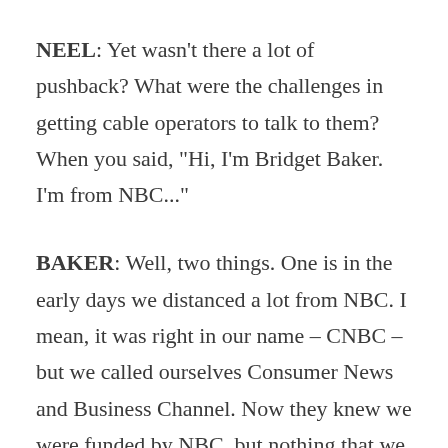NEEL: Yet wasn't there a lot of pushback? What were the challenges in getting cable operators to talk to them? When you said, "Hi, I'm Bridget Baker. I'm from NBC..."
BAKER: Well, two things. One is in the early days we distanced a lot from NBC. I mean, it was right in our name – CNBC – but we called ourselves Consumer News and Business Channel. Now they knew we were funded by NBC, but nothing that we used in the presentation to the cable industry had the